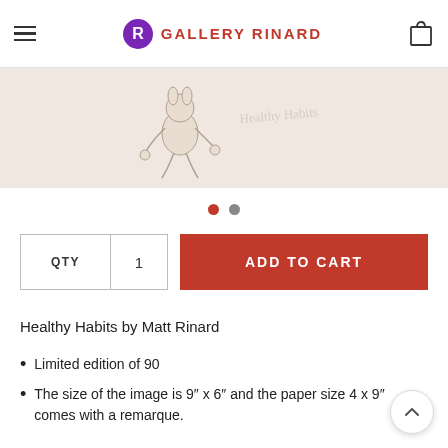Gallery Rinard
[Figure (illustration): Partial view of a line art illustration on a beige/cream background, showing a cartoon-style character (possibly a mouse or rabbit) in motion]
Healthy Habits by Matt Rinard
Limited edition of 90
The size of the image is 9″ x 6″ and the paper size 4 x 9″ comes with a remarque.